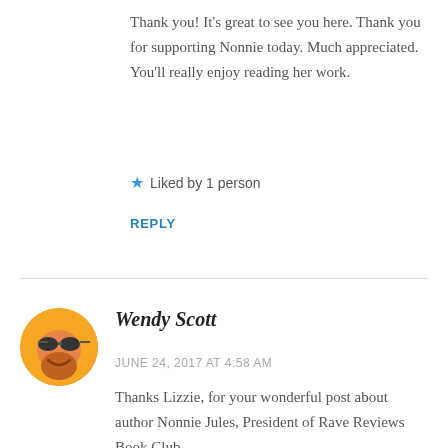Thank you! It's great to see you here. Thank you for supporting Nonnie today. Much appreciated. You'll really enjoy reading her work.
★ Liked by 1 person
REPLY
Wendy Scott
JUNE 24, 2017 AT 4:58 AM
Thanks Lizzie, for your wonderful post about author Nonnie Jules, President of Rave Reviews Book Club.